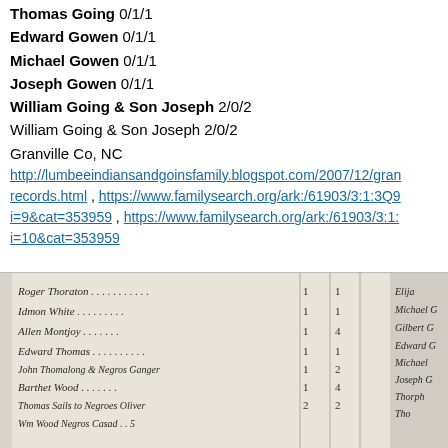Thomas Going 0/1/1
Edward Gowen 0/1/1
Michael Gowen 0/1/1
Joseph Gowen 0/1/1
William Going & Son Joseph 2/0/2
William Going & Son Joseph 2/0/2
Granville Co, NC
http://lumbeeindiansandgoinsfamily.blogspot.com/2007/12/gran... records.html , https://www.familysearch.org/ark:/61903/3:1:3Q9... i=9&cat=353959 , https://www.familysearch.org/ark:/61903/3:1:... i=10&cat=353959
[Figure (photo): Scanned historical census or tax record showing handwritten names in cursive including Roger Thoraton, Idmon White, Allen Montjoy, Edward Thomas, John Thomalong & Negros Ganger, Barthet Wood, Thomas Sails to Negroes Oliver, Wm Wood Negros Casad, and right column names including Elija, Michael, Gilbert, Edward, Michael, Joseph, with numerical columns.]